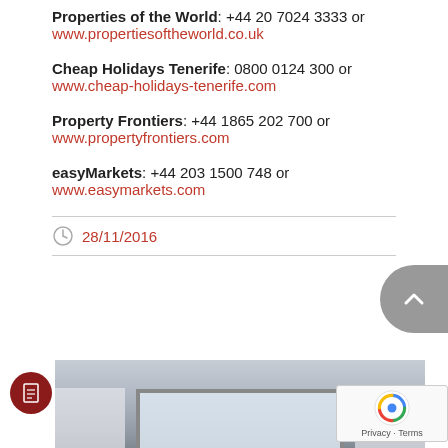Properties of the World: +44 20 7024 3333 or www.propertiesoftheworld.co.uk
Cheap Holidays Tenerife: 0800 0124 300 or www.cheap-holidays-tenerife.com
Property Frontiers: +44 1865 202 700 or www.propertyfrontiers.com
easyMarkets: +44 203 1500 748 or www.easymarkets.com
28/11/2016
[Figure (photo): Interior room photo showing windows with curtains and light coming through, gray walls]